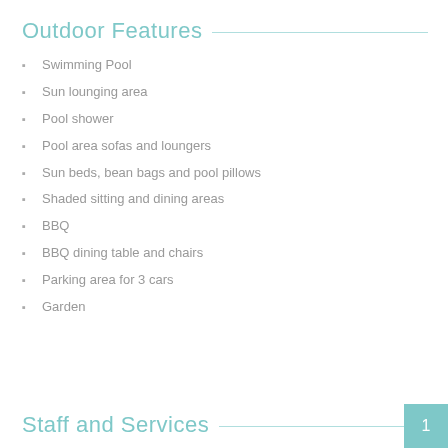Outdoor Features
Swimming Pool
Sun lounging area
Pool shower
Pool area sofas and loungers
Sun beds, bean bags and pool pillows
Shaded sitting and dining areas
BBQ
BBQ dining table and chairs
Parking area for 3 cars
Garden
Staff and Services
1